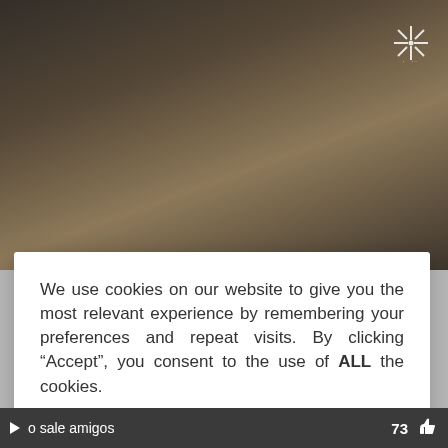[Figure (photo): Blurred background photo of a woman with blonde hair, dark and warm toned image with a star/asterisk logo in top right corner]
We use cookies on our website to give you the most relevant experience by remembering your preferences and repeat visits. By clicking “Accept”, you consent to the use of ALL the cookies.
Do not sell my personal information.
Cookie Settings
Accept
HD
Read More
[Figure (photo): Colorful thumbnail image at bottom with bright colors including yellow, red, blue]
o sale amigos   73